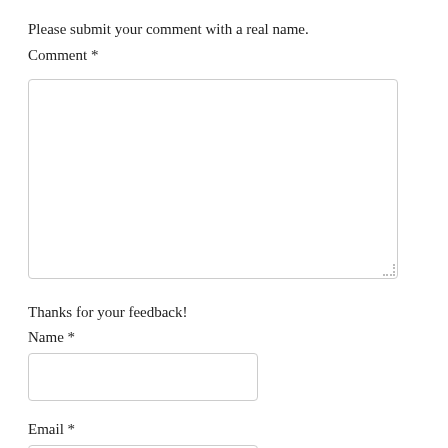Please submit your comment with a real name.
Comment *
[Figure (other): Large empty textarea input box for comment entry]
Thanks for your feedback!
Name *
[Figure (other): Small empty text input box for name entry]
Email *
[Figure (other): Small empty text input box for email entry]